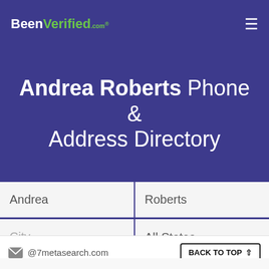BeenVerified.com
Andrea Roberts Phone & Address Directory
Andrea | Roberts
City | All States
SEARCH
@7metasearch.com
BACK TO TOP ↑